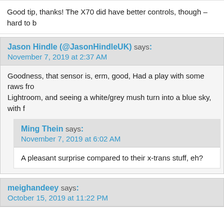Good tip, thanks! The X70 did have better controls, though – hard to b
Jason Hindle (@JasonHindleUK) says:
November 7, 2019 at 2:37 AM
Goodness, that sensor is, erm, good, Had a play with some raws fro Lightroom, and seeing a white/grey mush turn into a blue sky, with f
Ming Thein says:
November 7, 2019 at 6:02 AM
A pleasant surprise compared to their x-trans stuff, eh?
meighandeey says:
October 15, 2019 at 11:22 PM